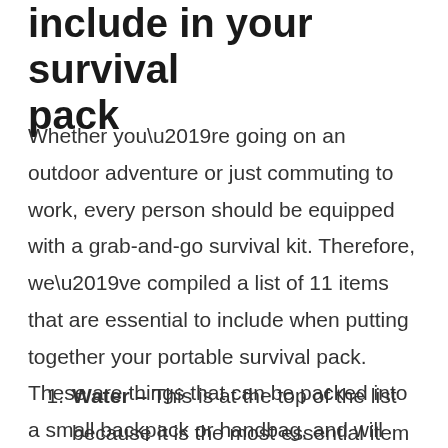include in your survival pack
Whether you’re going on an outdoor adventure or just commuting to work, every person should be equipped with a grab-and-go survival kit. Therefore, we’ve compiled a list of 11 items that are essential to include when putting together your portable survival pack. These are things that can be packed into a small backpack or handbag, and will help to keep you alive in emergency situations until someone comes to your aid.
Water – This is at the top of the list because it is the most essential item on